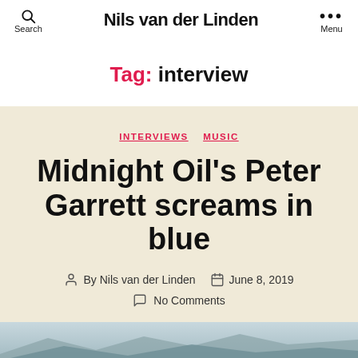Nils van der Linden
Tag: interview
INTERVIEWS   MUSIC
Midnight Oil's Peter Garrett screams in blue
By Nils van der Linden   June 8, 2019
No Comments
[Figure (photo): Landscape photo strip at bottom of page]